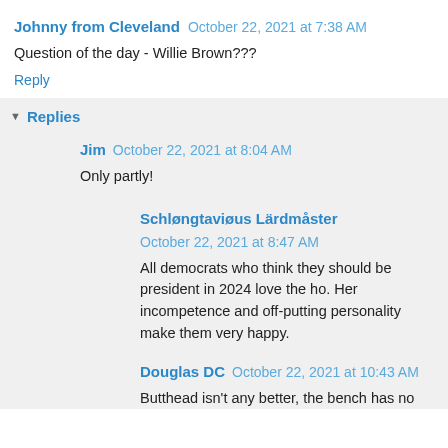Johnny from Cleveland  October 22, 2021 at 7:38 AM
Question of the day - Willie Brown???
Reply
Replies
Jim  October 22, 2021 at 8:04 AM
Only partly!
Schløngtaviøus Lärdmåster  October 22, 2021 at 8:47 AM
All democrats who think they should be president in 2024 love the ho. Her incompetence and off-putting personality make them very happy.
Douglas DC  October 22, 2021 at 10:43 AM
Butthead isn't any better, the bench has no